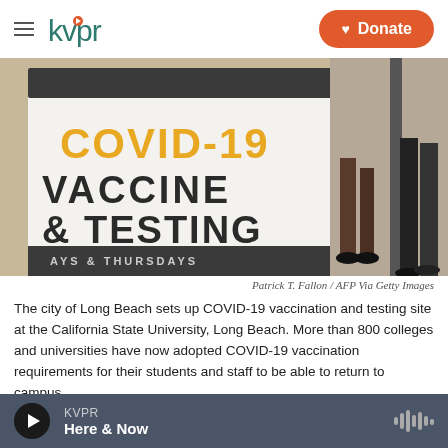kvpr — Donate
[Figure (photo): Photo of a COVID-19 Vaccine & Testing sign with text 'COVID-19 VACCINE & TESTING' in yellow and black letters on a white board, with people visible in the background on a campus setting.]
Patrick T. Fallon / AFP Via Getty Images
The city of Long Beach sets up COVID-19 vaccination and testing site at the California State University, Long Beach. More than 800 colleges and universities have now adopted COVID-19 vaccination requirements for their students and staff to be able to return to campus.
It has been a week since the Food and Drug
KVPR — Here & Now (audio player bar)